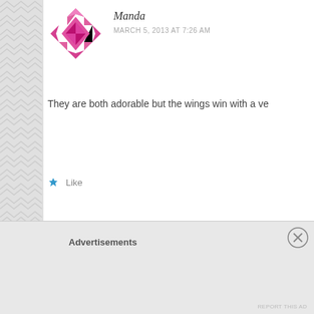[Figure (illustration): Pink/magenta geometric decorative avatar for user Manda]
Manda
MARCH 5, 2013 AT 7:26 AM
They are both adorable but the wings win with a ve
Like
Reply
[Figure (illustration): Cupcake avatar icon for user sweetsimplestuff]
sweetsimplestuff
MARCH 5, 2013 AT 8:20 AM
Thanks 😉
Like
Advertisements
REPORT THIS AD